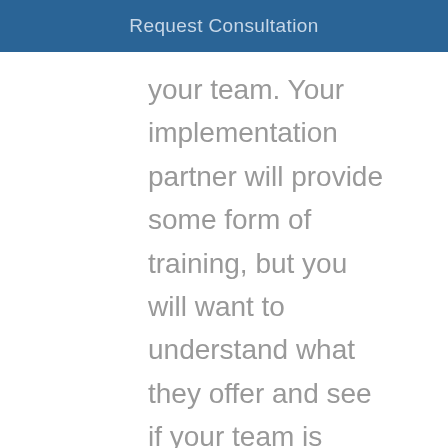Request Consultation
your team. Your implementation partner will provide some form of training, but you will want to understand what they offer and see if your team is interested in further training opportunities. This could include areas such as accessing